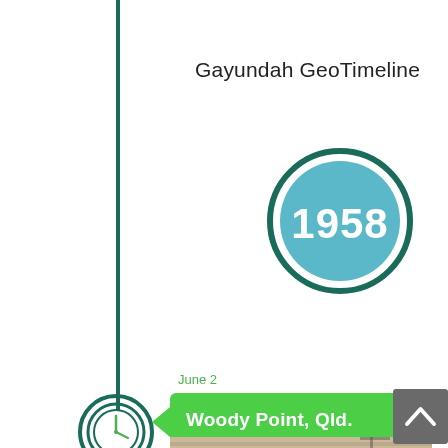Gayundah GeoTimeline
[Figure (infographic): Year badge: teal circle with white text '1958', surrounded by dark teal ring]
June 2
Woody Point, Qld.
[Figure (photo): Black and white historical photo partially visible at bottom of page]
[Figure (other): Scroll-to-top button with chevron icon, dark grey square]